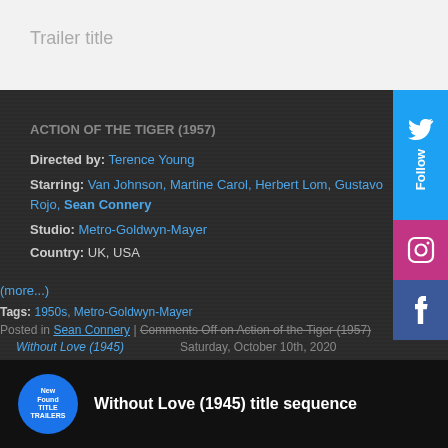Trailer title
ACTION OF THE TIGER (1957)
Directed by: Terence Young
Starring: Van Johnson, Martine Carol, Herbert Lom, Gustavo Rojo, Sean Connery
Studio: Metro-Goldwyn-Mayer
Country: UK, USA
(more...)
Tags: 1950s, Metro-Goldwyn-Mayer
Posted in Sean Connery | Comments Off on Action of the Tiger (1957)
Without Love (1945)   Saturday, October 10th, 2020
[Figure (screenshot): Without Love (1945) title sequence video thumbnail with channel logo]